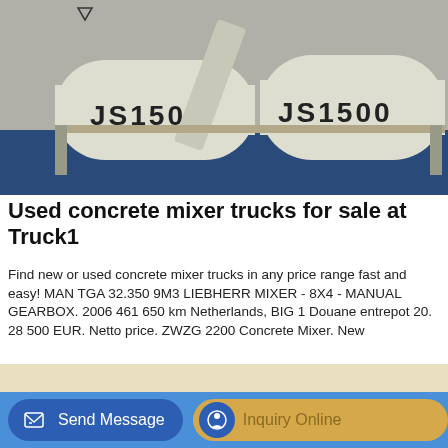[Figure (photo): Photo of two large industrial concrete mixer machines labeled JS1500, cream/beige colored, on a blue platform in a factory or warehouse setting.]
Used concrete mixer trucks for sale at Truck1
Find new or used concrete mixer trucks in any price range fast and easy! MAN TGA 32.350 9M3 LIEBHERR MIXER - 8X4 - MANUAL GEARBOX. 2006 461 650 km Netherlands, BIG 1 Douane entrepot 20. 28 500 EUR. Netto price. ZWZG 2200 Concrete Mixer. New
GET A QUOTE
Send Message
Inquiry Online